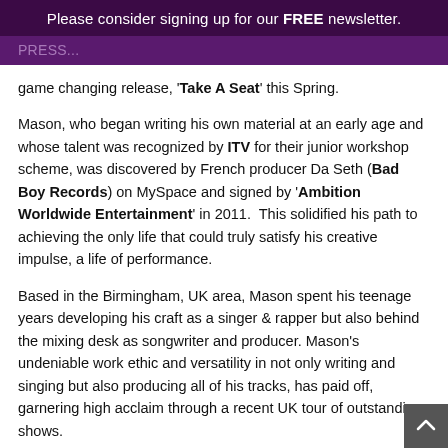Please consider signing up for our FREE newsletter.
game changing release, 'Take A Seat' this Spring.
Mason, who began writing his own material at an early age and whose talent was recognized by ITV for their junior workshop scheme, was discovered by French producer Da Seth (Bad Boy Records) on MySpace and signed by 'Ambition Worldwide Entertainment' in 2011. This solidified his path to achieving the only life that could truly satisfy his creative impulse, a life of performance.
Based in the Birmingham, UK area, Mason spent his teenage years developing his craft as a singer & rapper but also behind the mixing desk as songwriter and producer. Mason's undeniable work ethic and versatility in not only writing and singing but also producing all of his tracks, has paid off, garnering high acclaim through a recent UK tour of outstanding shows.
It hasn't taken long for Mason's talent to be recognized on the other side of the Atlantic; he is now walking in the footprints of some of the greatest having been sponsored by LA Gear, the same iconic brand that supported artists and sport superstars including Paula Abdul, Karl Malone